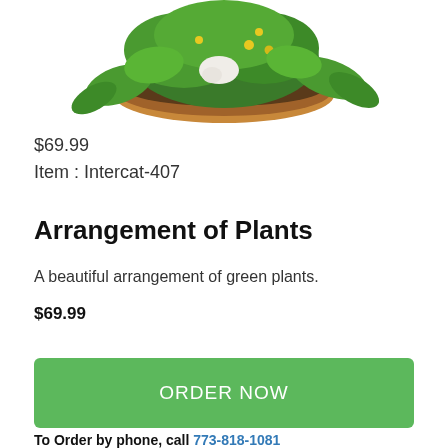[Figure (photo): A plant arrangement in a round brown bowl with green trailing plants and small yellow flowers, photographed from slightly above, on a white background.]
$69.99
Item : Intercat-407
Arrangement of Plants
A beautiful arrangement of green plants.
$69.99
ORDER NOW
To Order by phone, call 773-818-1081